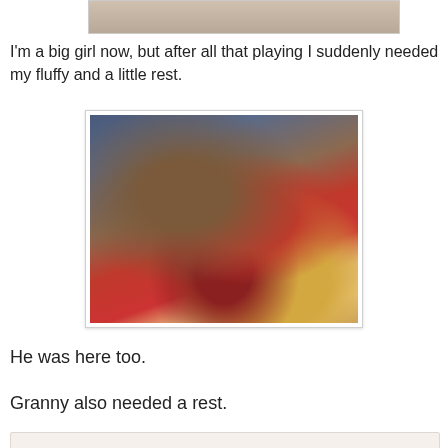[Figure (photo): Partial view of a photo at the top of the page, mostly cropped]
I'm a big girl now, but after all that playing I suddenly needed my fluffy and a little rest.
[Figure (photo): A young child wearing a red sweater, sitting at a wooden table, drawing or writing on a pink piece of paper with a green pencil/crayon. Blue carpet visible in background. Yellow box of BIC markers visible at bottom right.]
He was here too.
Granny also needed a rest.